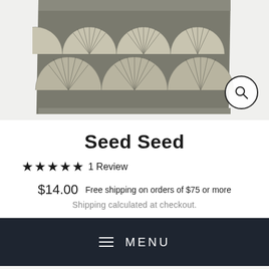[Figure (photo): A rug with a repeating fan/arch pattern in cream/off-white on a dark gray background, shown at an angle. A magnifying glass search icon is in the bottom right.]
Seed Seed
★★★★★ 1 Review
$14.00  Free shipping on orders of $75 or more
Shipping calculated at checkout.
≡ MENU